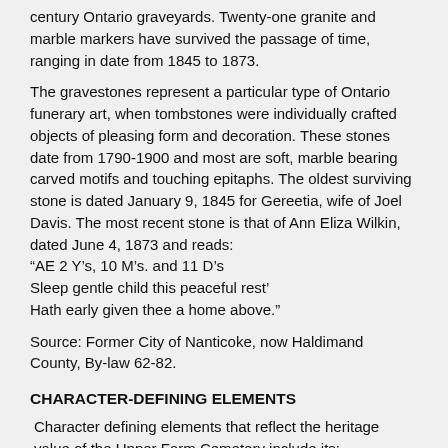century Ontario graveyards. Twenty-one granite and marble markers have survived the passage of time, ranging in date from 1845 to 1873.
The gravestones represent a particular type of Ontario funerary art, when tombstones were individually crafted objects of pleasing form and decoration. These stones date from 1790-1900 and most are soft, marble bearing carved motifs and touching epitaphs. The oldest surviving stone is dated January 9, 1845 for Gereetia, wife of Joel Davis. The most recent stone is that of Ann Eliza Wilkin, dated June 4, 1873 and reads:
“AE 2 Y’s, 10 M’s. and 11 D’s
Sleep gentle child this peaceful rest’
Hath early given thee a home above.”
Source: Former City of Nanticoke, now Haldimand County, By-law 62-82.
CHARACTER-DEFINING ELEMENTS
Character defining elements that reflect the heritage value of the Upper Farm Cemetery include its:
- location on a rural farmstead
- interesting and eclectic collection of 21 well preserved tombstones and footstones